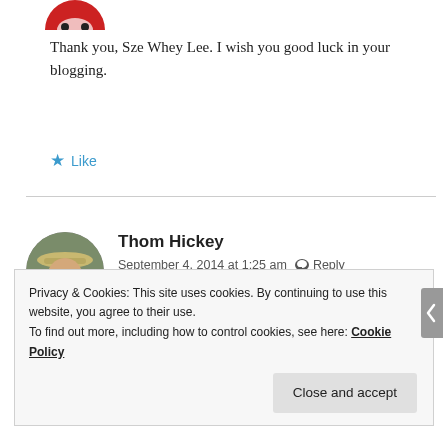[Figure (photo): Partially visible circular avatar with red and white colors, cropped at top]
Thank you, Sze Whey Lee. I wish you good luck in your blogging.
★ Like
[Figure (photo): Circular avatar photo of Thom Hickey, a person wearing a hat outdoors]
Thom Hickey
September 4, 2014 at 1:25 am  ✉ Reply
Thanks victor. Pleased to have found your fascinating blog
Privacy & Cookies: This site uses cookies. By continuing to use this website, you agree to their use.
To find out more, including how to control cookies, see here: Cookie Policy
Close and accept